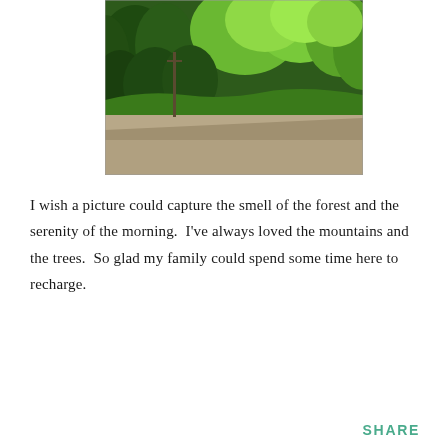[Figure (photo): A forest road scene with lush green trees lining a paved road. Bright green deciduous and coniferous trees fill the background under a bright sky. The foreground shows a wide paved road or parking area.]
I wish a picture could capture the smell of the forest and the serenity of the morning.  I've always loved the mountains and the trees.  So glad my family could spend some time here to recharge.
SHARE